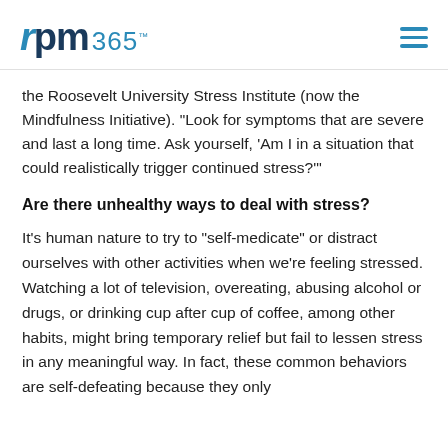rpm365™
the Roosevelt University Stress Institute (now the Mindfulness Initiative). “Look for symptoms that are severe and last a long time. Ask yourself, ‘Am I in a situation that could realistically trigger continued stress?’”
Are there unhealthy ways to deal with stress?
It’s human nature to try to “self-medicate” or distract ourselves with other activities when we’re feeling stressed. Watching a lot of television, overeating, abusing alcohol or drugs, or drinking cup after cup of coffee, among other habits, might bring temporary relief but fail to lessen stress in any meaningful way. In fact, these common behaviors are self-defeating because they only